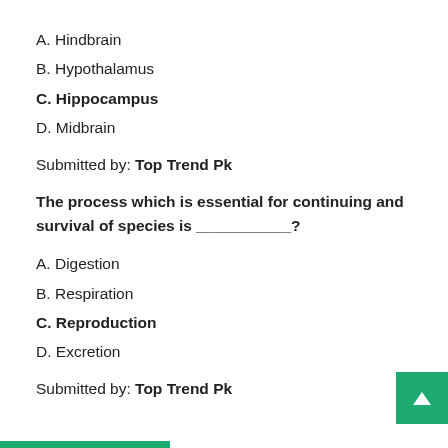A. Hindbrain
B. Hypothalamus
C. Hippocampus
D. Midbrain
Submitted by: Top Trend Pk
The process which is essential for continuing and survival of species is ___________?
A. Digestion
B. Respiration
C. Reproduction
D. Excretion
Submitted by: Top Trend Pk